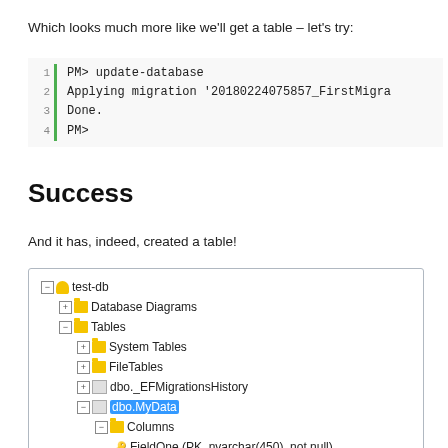Which looks much more like we'll get a table – let's try:
[Figure (screenshot): Code block showing terminal output: 1 PM> update-database, 2 Applying migration '20180224075857_FirstMigra, 3 Done., 4 PM>]
Success
And it has, indeed, created a table!
[Figure (screenshot): SQL Server Object Explorer tree showing test-db database with Database Diagrams, Tables (System Tables, FileTables, dbo._EFMigrationsHistory, dbo.MyData with Columns > FieldOne (PK, nvarchar(450), not null)), and Keys]